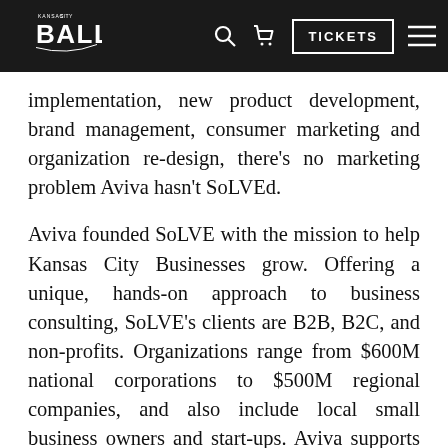[Figure (logo): Kansas City Ballet logo on dark navigation bar with search icon, cart icon, TICKETS button, and hamburger menu]
implementation, new product development, brand management, consumer marketing and organization re-design, there's no marketing problem Aviva hasn't SoLVEd.
Aviva founded SoLVE with the mission to help Kansas City Businesses grow. Offering a unique, hands-on approach to business consulting, SoLVE's clients are B2B, B2C, and non-profits. Organizations range from $600M national corporations to $500M regional companies, and also include local small business owners and start-ups. Aviva supports clients across numerous industries including Consumer Product Goods, Construction, Wedding, Publishing, Wealth Management, Higher Education, Manufacturing, Technology and a wide array of non-profit organizations.